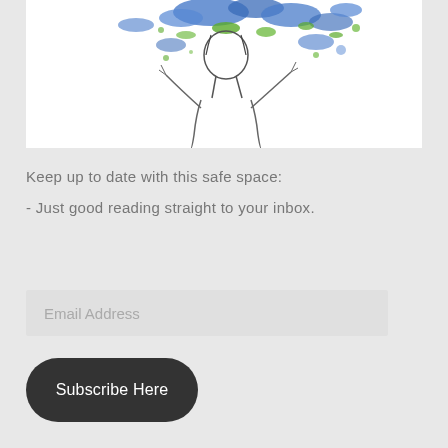[Figure (illustration): Watercolor-style illustration of a person looking up, with blue and green paint splashes around their head/hair area, rendered in minimal line art style on white background]
Keep up to date with this safe space:
- Just good reading straight to your inbox.
Email Address
Subscribe Here